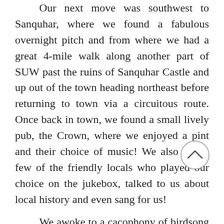Our next move was southwest to Sanquhar, where we found a fabulous overnight pitch and from where we had a great 4-mile walk along another part of SUW past the ruins of Sanquhar Castle and up out of the town heading northeast before returning to town via a circuitous route. Once back in town, we found a small lively pub, the Crown, where we enjoyed a pint and their choice of music! We also met a few of the friendly locals who played our choice on the jukebox, talked to us about local history and even sang for us!
We awoke to a cacophony of birdsong following a peaceful night, and wow, what a cacophony! After